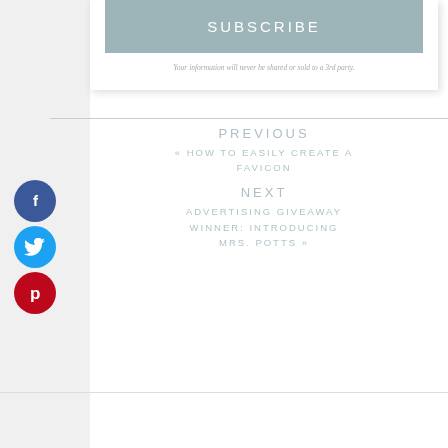SUBSCRIBE
Your information will never be shared or sold to a 3rd party.
PREVIOUS
« HOW TO EASILY CREATE A FAVICON
NEXT
ADVERTISING GIVEAWAY WINNER: INTRODUCING MRS. POTTS »
[Figure (illustration): Social media share buttons: Facebook (blue circle with f), Twitter (cyan circle with bird), Pinterest (red circle with P)]